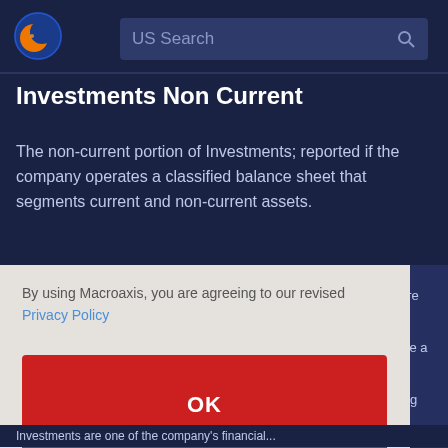[Figure (logo): Macroaxis globe logo with orange and blue colors]
US Search
Investments Non Current
The non-current portion of Investments; reported if the company operates a classified balance sheet that segments current and non-current assets.
By using Macroaxis, you are agreeing to our revised Privacy Policy
OK
are
g
ive a
e
ing